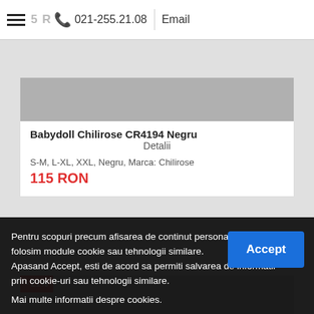021-255.21.08  |  Email
Babydoll Chilirose CR4194 Negru
Detalii
S-M, L-XL, XXL, Negru, Marca: Chilirose
115 RON
- 21%
Chemise Obsessive 863-BAB Rosu
Detalii
S-M, Rosu, Marca: Obsessive
119 RON  149 RON
Pentru scopuri precum afisarea de continut personalizat, folosim module cookie sau tehnologii similare. Apasand Accept, esti de acord sa permiti salvarea de informatii prin cookie-uri sau tehnologii similare.
Mai multe informatii despre cookies.
Babydoll Chilirose Vanessa Negru
Detalii